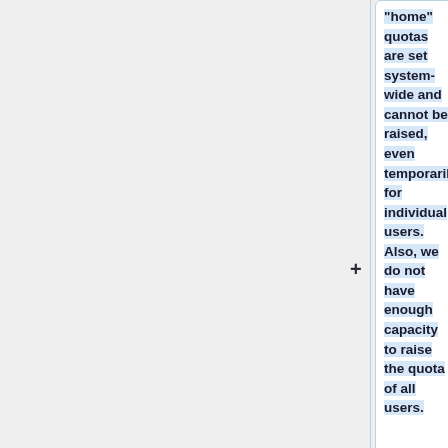"home" quotas are set system-wide and cannot be raised, even temporarily, for individual users. Also, we do not have enough capacity to raise the quota of all users.
If you have a lot of data in your "home" on '''both''' clusters, there is a high probability that you have